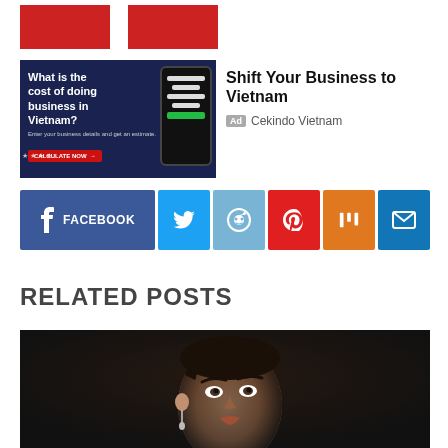[Figure (photo): Two red rectangular thumbnail images]
[Figure (photo): Advertisement banner showing 'What is the cost of doing business in Vietnam?' with a phone mockup on dark navy background]
Shift Your Business to Vietnam
Ad  Cekindo Vietnam
[Figure (infographic): Social sharing buttons: FACEBOOK, Twitter, Reddit, Pinterest, Mix, Email]
RELATED POSTS
[Figure (photo): Portrait photo of a young man with slicked back hair and earrings against a dark background]